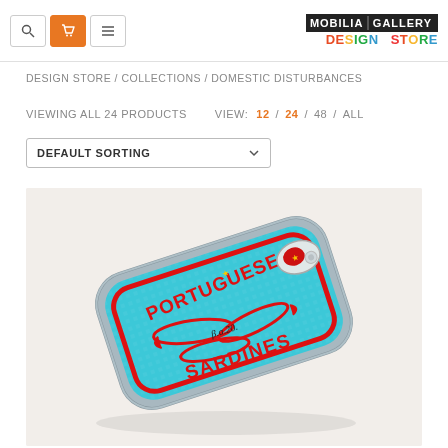MOBILIA GALLERY DESIGN STORE — navigation header with search, cart, menu icons and logo
DESIGN STORE / COLLECTIONS / DOMESTIC DISTURBANCES
VIEWING ALL 24 PRODUCTS   VIEW: 12 / 24 / 48 / ALL
DEFAULT SORTING
[Figure (photo): Close-up photo of an embroidered patch shaped like a sardine can with 'PORTUGUESE SARDINES' text on a teal/blue background with red embroidery details and a pull-tab on top right, photographed on a light background.]